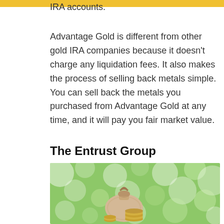IRA accounts.
Advantage Gold is different from other gold IRA companies because it doesn't charge any liquidation fees. It also makes the process of selling back metals simple. You can sell back the metals you purchased from Advantage Gold at any time, and it will pay you fair market value.
The Entrust Group
[Figure (photo): Photo of a small burlap money bag with coins stacked beside it, against a blurred green bokeh background]